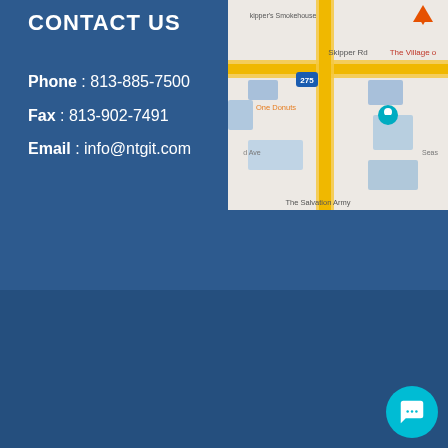CONTACT US
Phone : 813-885-7500
Fax : 813-902-7491
Email : info@ntgit.com
[Figure (map): Google Maps screenshot showing area near Skipper's Smokehouse, Skipper Rd, interstate 275, One Donuts, The Village, The Salvation Army]
Copyright 2022 | Powered by Baycoast Media | All Rights Reserved
[Figure (other): Social media icons: Facebook, Instagram, LinkedIn, Twitter; and a cyan chat bubble button with ellipsis icon]